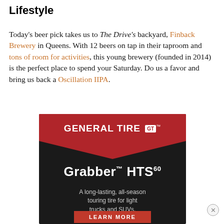Lifestyle
Today's beer pick takes us to The Drive's backyard, Finback Brewery in Queens. With 12 beers on tap in their taproom and tons of room for activities, this young brewery (founded in 2014) is the perfect place to spend your Saturday. Do us a favor and bring us back a Oscillation IIPA.
[Figure (infographic): General Tire advertisement for Grabber HTS60 — a long-lasting, all-season touring tire for light trucks and SUVs. Dark background with red chevron shape at top, brand logo in white, product name and description, and a red LEARN MORE button.]